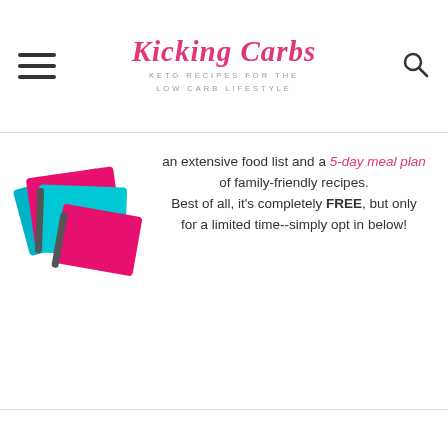Kicking Carbs — KETO RECIPES FOR THE LOW CARB LIFESTYLE
[Figure (photo): Stack of colorful keto recipe booklets with pink and teal covers, branded Kicking Carbs]
an extensive food list and a 5-day meal plan of family-friendly recipes. Best of all, it's completely FREE, but only for a limited time--simply opt in below!